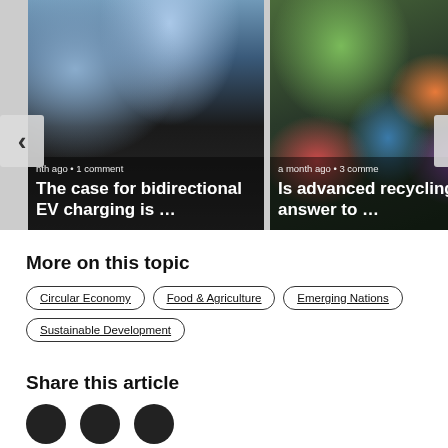[Figure (photo): Carousel with two article cards. Left card shows a black electric vehicle with metadata 'a month ago • 1 comment' and title 'The case for bidirectional EV charging is …'. Right card shows a pile of colorful recycling items with metadata 'a month ago • 3 comments' and title 'Is advanced recycling the answer to …'. Navigation arrows on left and right sides.]
More on this topic
Circular Economy
Food & Agriculture
Emerging Nations
Sustainable Development
Share this article